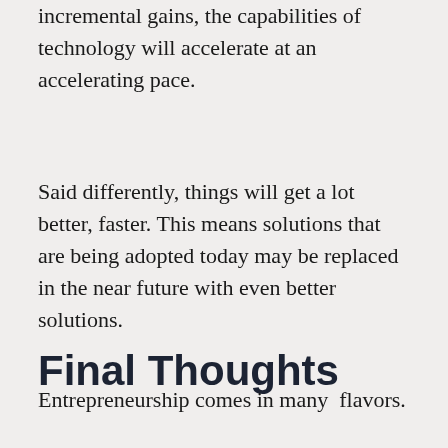incremental gains, the capabilities of technology will accelerate at an accelerating pace.
Said differently, things will get a lot better, faster. This means solutions that are being adopted today may be replaced in the near future with even better solutions.
Final Thoughts
Entrepreneurship comes in many  flavors.
Some time period...